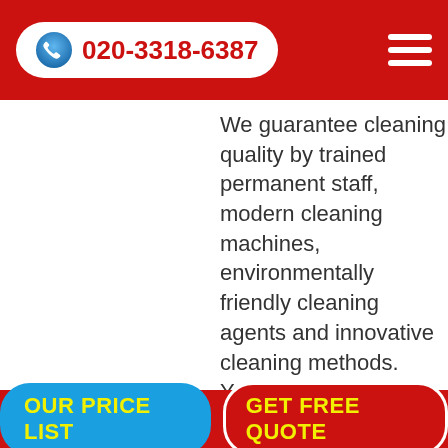020-3318-6387
We guarantee cleaning quality by trained permanent staff, modern cleaning machines, environmentally friendly cleaning agents and innovative cleaning methods. Your object management is available to you at any time.
OUR PRICE LIST   GET FREE QUOTE